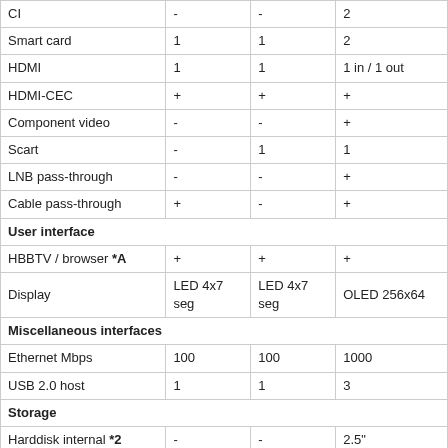|  |  |  |  |
| --- | --- | --- | --- |
| CI | - | - | 2 |
| Smart card | 1 | 1 | 2 |
| HDMI | 1 | 1 | 1 in / 1 out |
| HDMI-CEC | + | + | + |
| Component video | - | - | + |
| Scart | - | 1 | 1 |
| LNB pass-through | - | - | + |
| Cable pass-through | + | - | + |
| User interface |  |  |  |
| HBBTV / browser *A | + | + | + |
| Display | LED 4x7 seg | LED 4x7 seg | OLED 256x64 |
| Miscellaneous interfaces |  |  |  |
| Ethernet Mbps | 100 | 100 | 1000 |
| USB 2.0 host | 1 | 1 | 3 |
| Storage |  |  |  |
| Harddisk internal *2 | - | - | 2.5" |
| Harddisk external *2 | - | - | - |
| Other memory | - | - | - |
| Internal |  |  |  |
| SoC | bcm7581 | bcm7358 | bcm7425 |